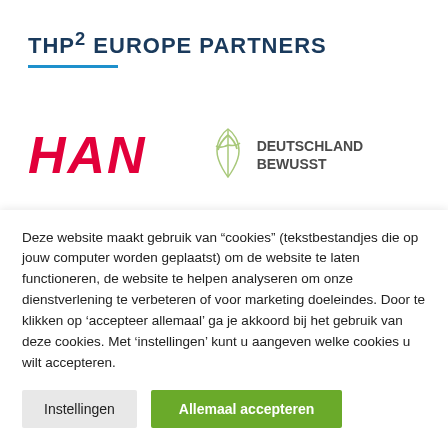THP² EUROPE PARTNERS
[Figure (logo): HAN university logo in bold italic red letters]
[Figure (logo): Deutschland Bewusst logo with green plant icon and dark text]
Deze website maakt gebruik van “cookies” (tekstbestandjes die op jouw computer worden geplaatst) om de website te laten functioneren, de website te helpen analyseren om onze dienstverlening te verbeteren of voor marketing doeleindes. Door te klikken op 'accepteer allemaal' ga je akkoord bij het gebruik van deze cookies. Met 'instellingen' kunt u aangeven welke cookies u wilt accepteren.
Instellingen
Allemaal accepteren